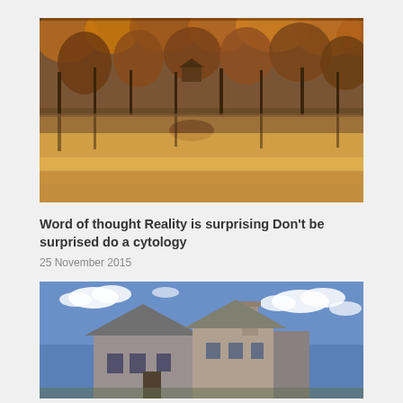[Figure (photo): Autumn forest scene reflected in a calm lake, with a small cabin visible among orange and red trees, warm sunset light reflecting on water below]
Word of thought Reality is surprising Don't be surprised do a cytology
25 November 2015
[Figure (photo): Stone and wood house with chimney against a blue sky with white clouds]